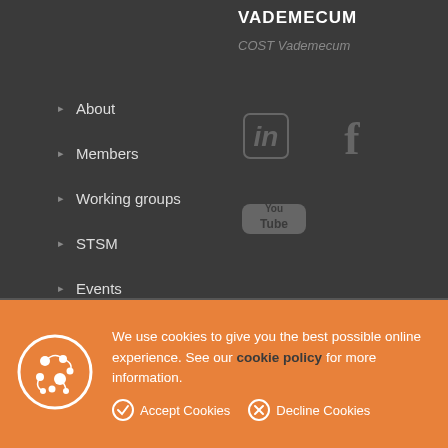VADEMECUM
COST Vademecum
About
Members
Working groups
STSM
Events
Resources
[Figure (logo): Social media icons: LinkedIn (in), Facebook (f), and YouTube (Tube) logos in dark grey]
We use cookies to give you the best possible online experience. See our cookie policy for more information. Accept Cookies Decline Cookies